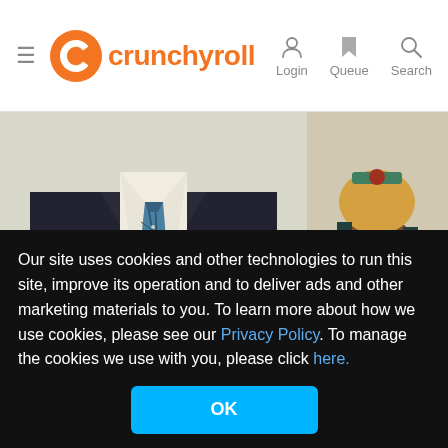crunchyroll — Login, Queue, Search
[Figure (photo): Two anime character images side by side: left shows a dark-suited figure with blue plaid tie, right shows a colorful costumed character]
2:42 PM · Sep 17, 2015
2.5K   Reply   Copy link
Read 3 replies
□□□□□□□□□□
Our site uses cookies and other technologies to run this site, improve its operation and to deliver ads and other marketing materials to you. To learn more about how we use cookies, please see our Privacy Policy. To manage the cookies we use with you, please click here.
OK